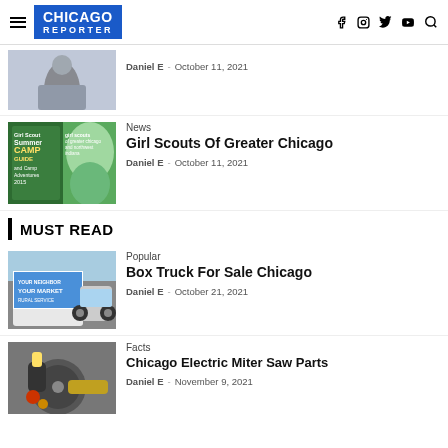CHICAGO REPORTER
[Figure (photo): Hand holding a device, partially visible at top]
Daniel E - October 11, 2021
[Figure (photo): Girl Scout Summer Camp Guide 2015 cover with girl scouts of greater chicago and northwest indiana branding, girl canoeing]
News
Girl Scouts Of Greater Chicago
Daniel E - October 11, 2021
MUST READ
[Figure (photo): White box truck with advertising on the side]
Popular
Box Truck For Sale Chicago
Daniel E - October 21, 2021
[Figure (photo): Chicago electric miter saw parts close-up photo]
Facts
Chicago Electric Miter Saw Parts
Daniel E - November 9, 2021